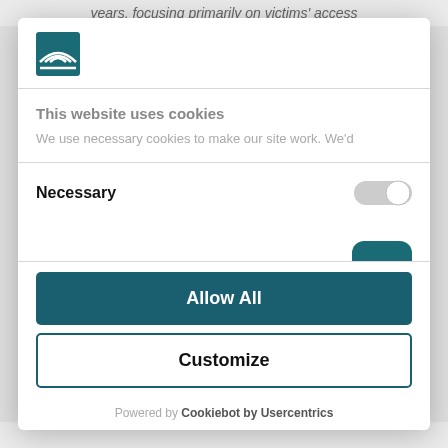years, focusing primarily on victims' access
[Figure (logo): Teal and white organization logo with stylized lines forming a house/roof shape]
This website uses cookies
We use necessary cookies to make our site work. We'd
Necessary
Allow All
Customize
Powered by Cookiebot by Usercentrics